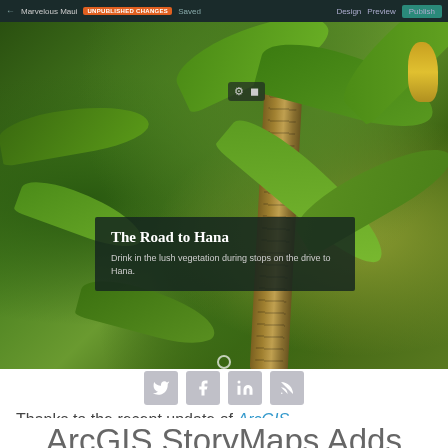[Figure (screenshot): Screenshot of ArcGIS StoryMaps web editor interface showing a tropical Maui photo with text overlay 'The Road to Hana', navigation bar at top with Design/Preview/Publish buttons, and ARCWATCH banner overlaid on the bottom left of the image.]
ArcGIS StoryMaps Adds New Creative Tools
Thanks to the recent update of ArcGIS